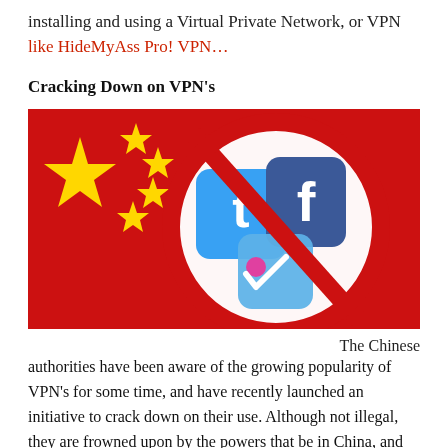installing and using a Virtual Private Network, or VPN like HideMyAss Pro! VPN…
Cracking Down on VPN's
[Figure (illustration): Chinese flag with a prohibition/no symbol overlaid on social media icons including Twitter and Facebook logos]
The Chinese authorities have been aware of the growing popularity of VPN's for some time, and have recently launched an initiative to crack down on their use. Although not illegal, they are frowned upon by the powers that be in China, and some users have found they were no longer able to